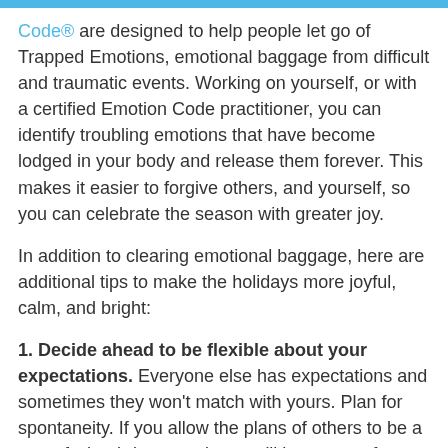Code® are designed to help people let go of Trapped Emotions, emotional baggage from difficult and traumatic events. Working on yourself, or with a certified Emotion Code practitioner, you can identify troubling emotions that have become lodged in your body and release them forever. This makes it easier to forgive others, and yourself, so you can celebrate the season with greater joy.
In addition to clearing emotional baggage, here are additional tips to make the holidays more joyful, calm, and bright:
1. Decide ahead to be flexible about your expectations. Everyone else has expectations and sometimes they won't match with yours. Plan for spontaneity. If you allow the plans of others to be a part of what brings you joy, you'll have more fun as everyone shares ideas and activities.
2. Be aware of what your body needs. This